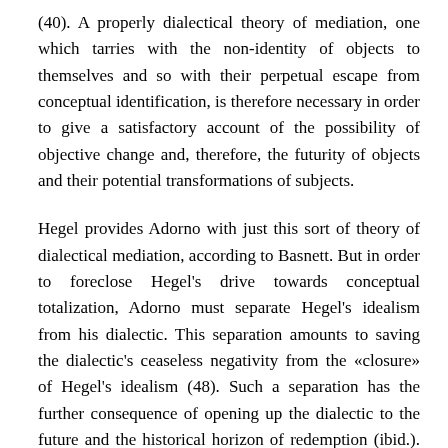(40). A properly dialectical theory of mediation, one which tarries with the non-identity of objects to themselves and so with their perpetual escape from conceptual identification, is therefore necessary in order to give a satisfactory account of the possibility of objective change and, therefore, the futurity of objects and their potential transformations of subjects.
Hegel provides Adorno with just this sort of theory of dialectical mediation, according to Basnett. But in order to foreclose Hegel's drive towards conceptual totalization, Adorno must separate Hegel's idealism from his dialectic. This separation amounts to saving the dialectic's ceaseless negativity from the «closure» of Hegel's idealism (48). Such a separation has the further consequence of opening up the dialectic to the future and the historical horizon of redemption (ibid.). Dialectic without idealism is